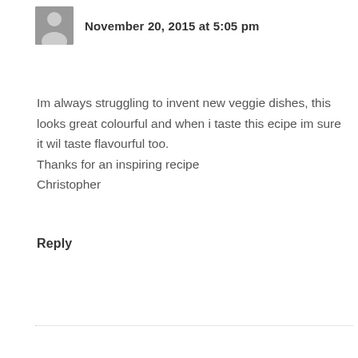November 20, 2015 at 5:05 pm
Im always struggling to invent new veggie dishes, this looks great colourful and when i taste this ecipe im sure it wil taste flavourful too.
Thanks for an inspiring recipe
Christopher
Reply